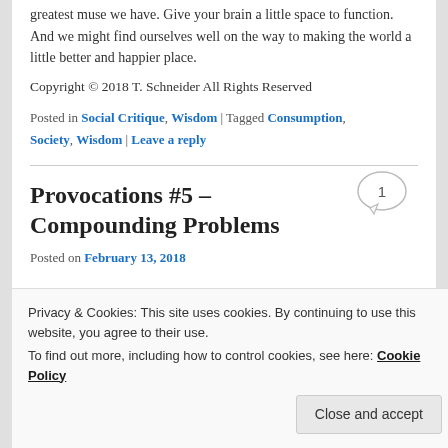greatest muse we have.  Give your brain a little space to function.  And we might find ourselves well on the way to making the world a little better and happier place.
Copyright © 2018 T. Schneider All Rights Reserved
Posted in Social Critique, Wisdom | Tagged Consumption, Society, Wisdom | Leave a reply
Provocations #5 – Compounding Problems
Posted on February 13, 2018
Privacy & Cookies: This site uses cookies. By continuing to use this website, you agree to their use.
To find out more, including how to control cookies, see here: Cookie Policy